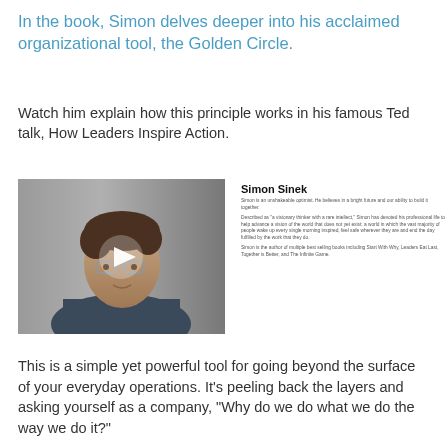In the book, Simon delves deeper into his acclaimed organizational tool, the Golden Circle.
Watch him explain how this principle works in his famous Ted talk, How Leaders Inspire Action.
[Figure (photo): Video thumbnail showing Simon Sinek with a play button overlay, alongside a sidebar bio panel with his name and descriptive text.]
This is a simple yet powerful tool for going beyond the surface of your everyday operations. It’s peeling back the layers and asking yourself as a company, “Why do we do what we do the way we do it?”